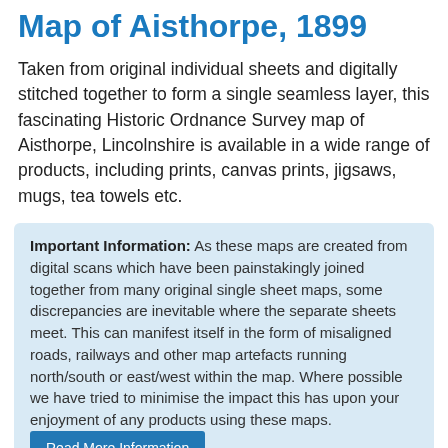Map of Aisthorpe, 1899
Taken from original individual sheets and digitally stitched together to form a single seamless layer, this fascinating Historic Ordnance Survey map of Aisthorpe, Lincolnshire is available in a wide range of products, including prints, canvas prints, jigsaws, mugs, tea towels etc.
Important Information: As these maps are created from digital scans which have been painstakingly joined together from many original single sheet maps, some discrepancies are inevitable where the separate sheets meet. This can manifest itself in the form of misaligned roads, railways and other map artefacts running north/south or east/west within the map. Where possible we have tried to minimise the impact this has upon your enjoyment of any products using these maps.
Read More Information